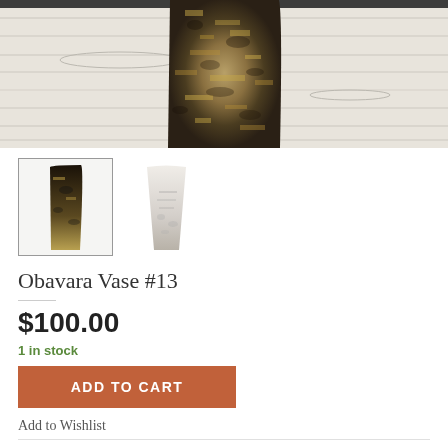[Figure (photo): Close-up photo of a textured ceramic vase with dark and golden mottled glaze, placed on a white painted wood surface]
[Figure (photo): Two thumbnail images of ceramic vases: left thumbnail shows a tall vase with dark/golden gradient glaze (selected, with border), right thumbnail shows a lighter vase with script markings]
Obavara Vase #13
$100.00
1 in stock
ADD TO CART
Add to Wishlist